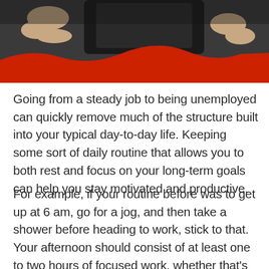[Figure (photo): Cropped photo showing hands holding a smartphone, with a dark background and a red wave/shape design element at the bottom of the image.]
Going from a steady job to being unemployed can quickly remove much of the structure built into your typical day-to-day life. Keeping some sort of daily routine that allows you to both rest and focus on your long-term goals can help you stay motivated and productive.
For example, if your routine before was to get up at 6 am, go for a jog, and then take a shower before heading to work, stick to that. Your afternoon should consist of at least one to two hours of focused work, whether that's updating